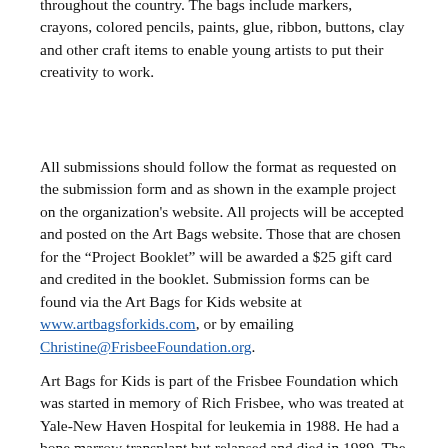throughout the country. The bags include markers, crayons, colored pencils, paints, glue, ribbon, buttons, clay and other craft items to enable young artists to put their creativity to work.
All submissions should follow the format as requested on the submission form and as shown in the example project on the organization's website. All projects will be accepted and posted on the Art Bags website. Those that are chosen for the “Project Booklet” will be awarded a $25 gift card and credited in the booklet. Submission forms can be found via the Art Bags for Kids website at www.artbagsforkids.com, or by emailing Christine@FrisbeeFoundation.org.
Art Bags for Kids is part of the Frisbee Foundation which was started in memory of Rich Frisbee, who was treated at Yale-New Haven Hospital for leukemia in 1988. He had a bone marrow transplant but relapsed and died in 1989. The Foundation, started in 1990, has provided research scholarships, education and direct patient care to children and families undergoing treatment for